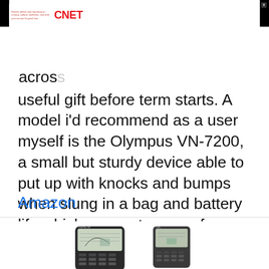[Figure (other): CNET advertisement banner with tagline 'Expert advice and reporting on money, culture, wellness, and tech you can put to good use.' and red CNET logo]
across... useful gift before term starts. A model i'd recommend as a user myself is the Olympus VN-7200, a small but sturdy device able to put up with knocks and bumps when slung in a bag and battery life which seems to go on forever. The sound is clear and crisper than what you may expect from only $32, making this a strong choice for a college gift.
Amazon
[Figure (photo): Product images of two electronic devices (likely calculators or recording devices) shown at the bottom of the page]